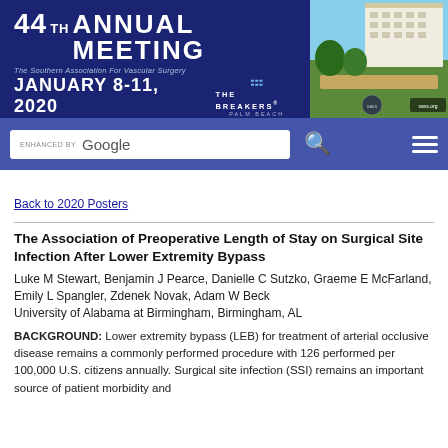[Figure (infographic): Header banner for the 44th Annual Meeting of the Southern Association for Vascular Surgery, January 8-11, 2020, at The Breakers Palm Beach, with a photo of the hotel building on the right.]
[Figure (screenshot): Search bar with 'enhanced by Google' search input, search icon, and hamburger menu icon on a dark blue/purple background.]
Back to 2020 Posters
The Association of Preoperative Length of Stay on Surgical Site Infection After Lower Extremity Bypass
Luke M Stewart, Benjamin J Pearce, Danielle C Sutzko, Graeme E McFarland, Emily L Spangler, Zdenek Novak, Adam W Beck
University of Alabama at Birmingham, Birmingham, AL
BACKGROUND: Lower extremity bypass (LEB) for treatment of arterial occlusive disease remains a commonly performed procedure with 126 performed per 100,000 U.S. citizens annually. Surgical site infection (SSI) remains an important source of patient morbidity and